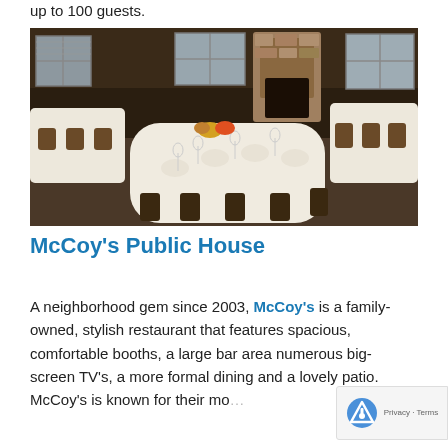up to 100 guests.
[Figure (photo): Interior of McCoy's Public House restaurant showing long dining tables set with white tablecloths, wine glasses, and menus, with a stone fireplace in the background.]
McCoy's Public House
A neighborhood gem since 2003, McCoy's is a family-owned, stylish restaurant that features spacious, comfortable booths, a large bar area numerous big-screen TV's, a more formal dining and a lovely patio. McCoy's is known for their mo...